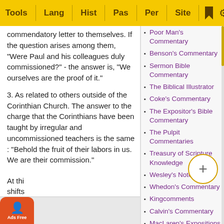Tools | Lang | Hist | Pas | Per | Site
commendatory letter to themselves. If the question arises among them, "Were Paul and his colleagues duly commissioned?" - the answer is, "We ourselves are the proof of it."
3. As related to others outside of the Corinthian Church. The answer to the charge that the Corinthians have been taught by irregular and uncommissioned teachers is the same : "Behold the fruit of their labors in us. We are their commission."
At thi... shifts...
Poor Man's Commentary
Benson's Commentary
Sermon Bible Commentary
The Biblical Illustrator
Coke's Commentary
The Expositor's Bible Commentary
The Pulpit Commentaries
Treasury of Scripture Knowledge
Wesley's Notes
Whedon's Commentary
Kingcomments
Calvin's Commentary
MacLaren's Expositions